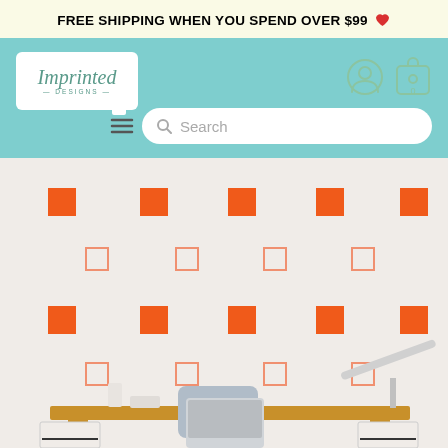FREE SHIPPING WHEN YOU SPEND OVER $99 ❤
[Figure (logo): Imprinted Designs logo in white rounded rectangle]
[Figure (screenshot): Search bar with hamburger menu icon and magnifying glass on teal navigation bar]
[Figure (photo): Room scene with orange and outline square wall decals arranged in a grid pattern on a light wall above a wooden desk with a gray chair, desk lamp, and office supplies]